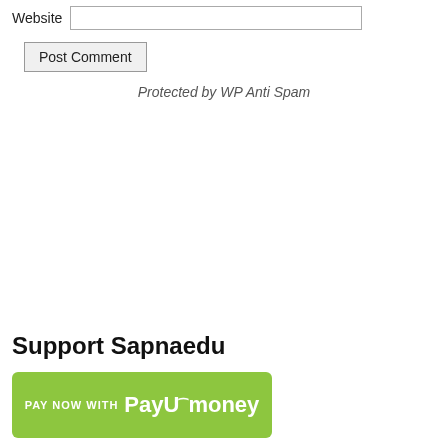Website [input field]
Post Comment
Protected by WP Anti Spam
Support Sapnaedu
[Figure (other): PayUmoney payment button — green rounded rectangle with text 'PAY NOW WITH PayUmoney']